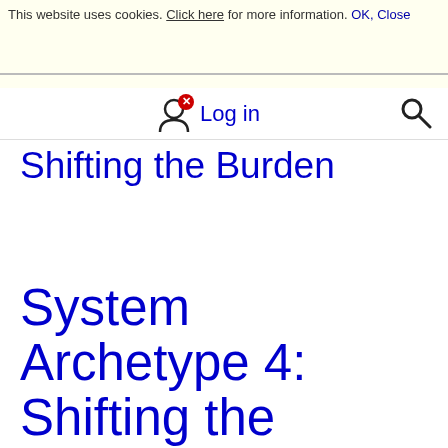This website uses cookies. Click here for more information. OK, Close
[Figure (logo): 12MANAGE logo in dark red/maroon bold text with hamburger menu icon on the right]
Log in
Shifting the Burden
System Archetype 4: Shifting the Burden to the